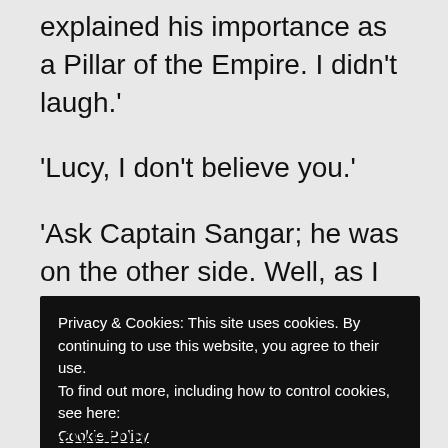explained his importance as a Pillar of the Empire. I didn’t laugh.’
‘Lucy, I don’t believe you.’
‘Ask Captain Sangar; he was on the other side. Well, as I was saying, The Mussuck dilated.’
‘I think I can see him doing it,’ said Mrs. Mallowe, pensively, scratching her fox-terrier’s ears.
Privacy & Cookies: This site uses cookies. By continuing to use this website, you agree to their use.
To find out more, including how to control cookies, see here:
Cookie Policy
Close and accept
Government."’